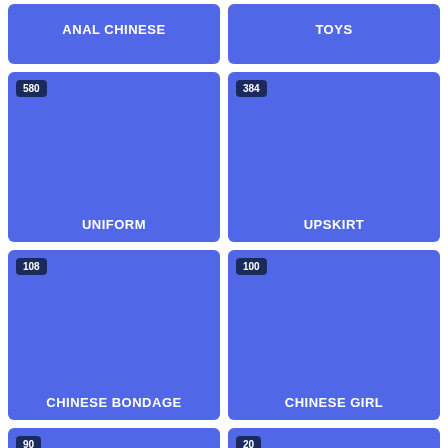[Figure (other): Blue card tile labeled ANAL CHINESE]
[Figure (other): Blue card tile labeled TOYS]
[Figure (other): Blue card tile labeled UNIFORM with badge 580]
[Figure (other): Blue card tile labeled UPSKIRT with badge 384]
[Figure (other): Blue card tile labeled CHINESE BONDAGE with badge 108]
[Figure (other): Blue card tile labeled CHINESE GIRL with badge 100]
[Figure (other): Blue card tile with badge 90 (partial, bottom)]
[Figure (other): Blue card tile with badge 20 (partial, bottom)]